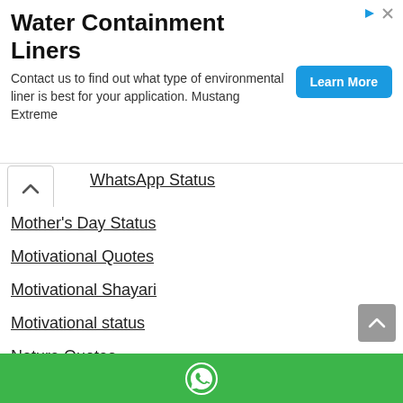[Figure (other): Advertisement banner for Water Containment Liners with a Learn More button]
WhatsApp Status
Mother's Day Status
Motivational Quotes
Motivational Shayari
Motivational status
Nature Quotes
New Year Status
One Line Shayari
Parents Quotes
Positive Quotes about life
Positive Status
Promise Status
WhatsApp share button footer bar